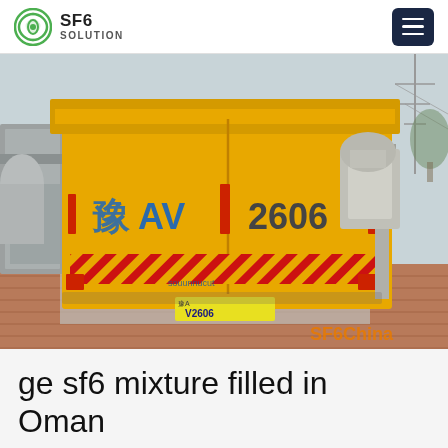SF6 SOLUTION
[Figure (photo): A yellow utility truck (license plate 豫AV 2606 / V2606) parked at an electrical substation with industrial equipment and transformers visible. Watermark 'SF6China' in orange at bottom right.]
ge sf6 mixture filled in Oman